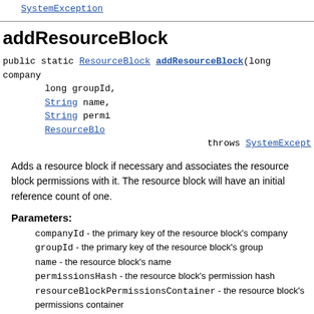Throws:
SystemException
addResourceBlock
public static ResourceBlock addResourceBlock(long companyId, long groupId, String name, String permissionsHash, ResourceBlockPermissionsContainer throws SystemException
Adds a resource block if necessary and associates the resource block permissions with it. The resource block will have an initial reference count of one.
Parameters:
companyId - the primary key of the resource block's company
groupId - the primary key of the resource block's group
name - the resource block's name
permissionsHash - the resource block's permission hash
resourceBlockPermissionsContainer - the resource block's permissions container